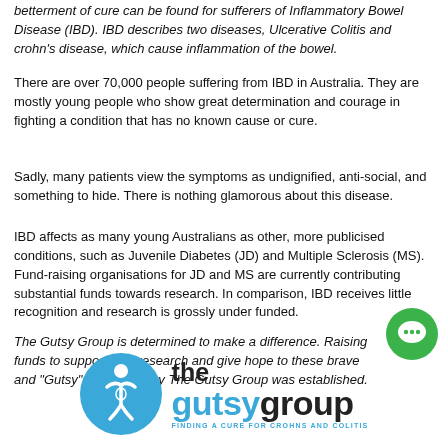betterment of cure can be found for sufferers of Inflammatory Bowel Disease (IBD). IBD describes two diseases, Ulcerative Colitis and crohn's disease, which cause inflammation of the bowel.
There are over 70,000 people suffering from IBD in Australia. They are mostly young people who show great determination and courage in fighting a condition that has no known cause or cure.
Sadly, many patients view the symptoms as undignified, anti-social, and something to hide. There is nothing glamorous about this disease.
IBD affects as many young Australians as other, more publicised conditions, such as Juvenile Diabetes (JD) and Multiple Sclerosis (MS). Fund-raising organisations for JD and MS are currently contributing substantial funds towards research. In comparison, IBD receives little recognition and research is grossly under funded.
The Gutsy Group is determined to make a difference. Raising funds to support vital research and give hope to these brave and "Gutsy" people is why The Gutsy Group was established.
[Figure (logo): The Gutsy Group logo: blue circle with stylized figure, text 'the gutsy group' with tagline 'FINDING A CURE FOR CROHNS AND COLITIS']